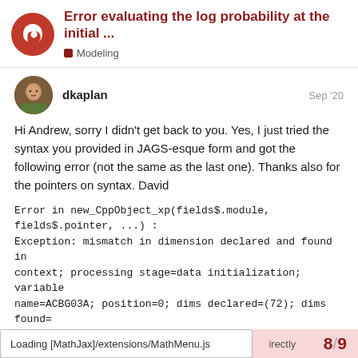Error evaluating the log probability at the initial ... | Modeling
dkaplan   Sep '20
Hi Andrew, sorry I didn't get back to you. Yes, I just tried the syntax you provided in JAGS-esque form and got the following error (not the same as the last one). Thanks also for the pointers on syntax. David
Error in new_CppObject_xp(fields$.module, fields$.pointer, ...) : Exception: mismatch in dimension declared and found in context; processing stage=data initialization; variable name=ACBG03A; position=0; dims declared=(72); dims found=(896) (in 'model5fa5a112f48_ea985ca51bf54f9d294f35274780b4bb' at line 9)
failed to create the sampler; sampling not done
Loading [MathJax]/extensions/MathMenu.js    irectly   8 / 9